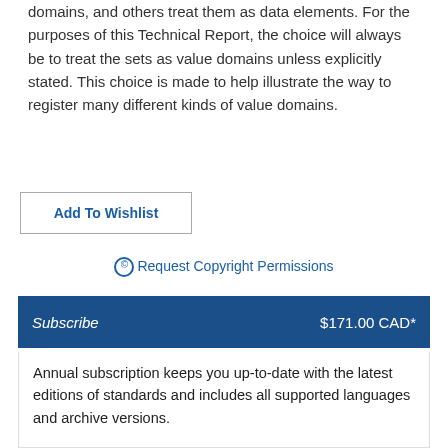domains, and others treat them as data elements. For the purposes of this Technical Report, the choice will always be to treat the sets as value domains unless explicitly stated. This choice is made to help illustrate the way to register many different kinds of value domains.
Add To Wishlist
© Request Copyright Permissions
Subscribe   $171.00 CAD*
Annual subscription keeps you up-to-date with the latest editions of standards and includes all supported languages and archive versions.